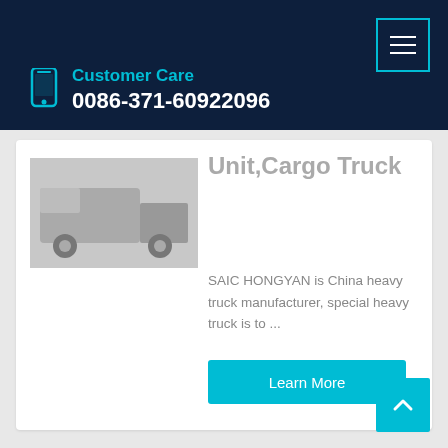Customer Care 0086-371-60922096
Unit,Cargo Truck
SAIC HONGYAN is China heavy truck manufacturer, special heavy truck is to ...
Learn More
SAIC Hongyan CQ3254HTG414 Dump truck on ...
SAIC Hongyan dump truck CQ3254HTG414 (batch #187) based